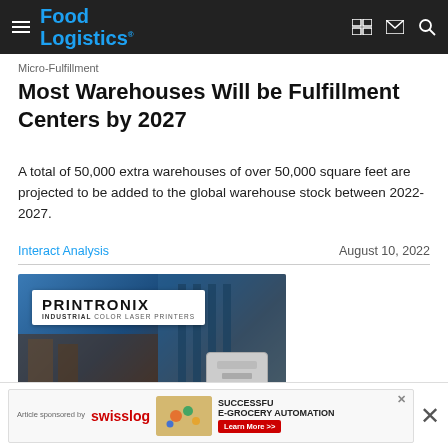Food Logistics
Micro-Fulfillment
Most Warehouses Will be Fulfillment Centers by 2027
A total of 50,000 extra warehouses of over 50,000 square feet are projected to be added to the global warehouse stock between 2022-2027.
Interact Analysis | August 10, 2022
[Figure (photo): Printronix Industrial Color Laser Printers advertisement with warehouse background]
[Figure (infographic): Swisslog article sponsorship banner: Article sponsored by swisslog - SUCCESSFUL E-GROCERY AUTOMATION - Learn More >>]